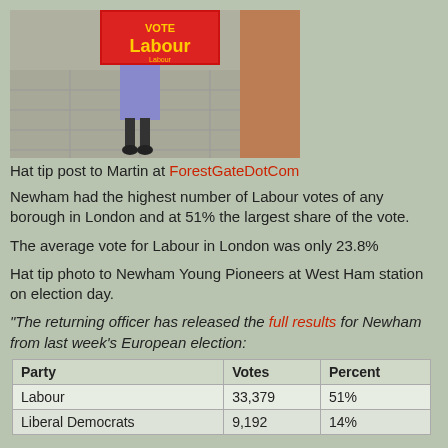[Figure (photo): Person holding a red Labour campaign sign at what appears to be a street or station pavement area]
Hat tip post to Martin at ForestGateDotCom
Newham had the highest number of Labour votes of any borough in London and at 51% the largest share of the vote.
The average vote for Labour in London was only 23.8%
Hat tip photo to Newham Young Pioneers at West Ham station on election day.
"The returning officer has released the full results for Newham from last week's European election:
| Party | Votes | Percent |
| --- | --- | --- |
| Labour | 33,379 | 51% |
| Liberal Democrats | 9,192 | 14% |